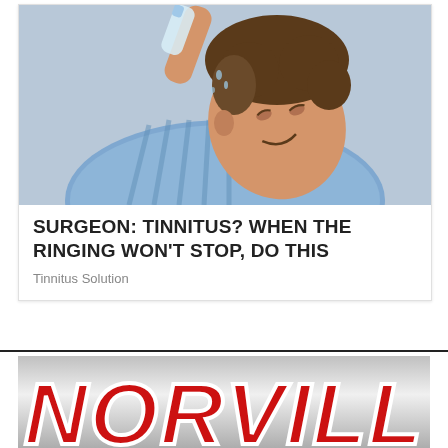[Figure (photo): Person tilting head and pouring liquid from a bottle into their ear, wearing a blue striped shirt, smiling, against a gray background.]
SURGEON: TINNITUS? WHEN THE RINGING WON'T STOP, DO THIS
Tinnitus Solution
[Figure (logo): Large arched red block letters spelling NORVILL on a silver/gray gradient background.]